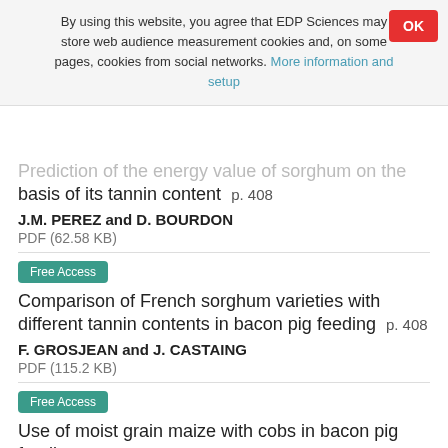By using this website, you agree that EDP Sciences may store web audience measurement cookies and, on some pages, cookies from social networks. More information and setup
Prediction of the energy value of sorghum on the basis of its tannin content   p. 408
J.M. PEREZ and D. BOURDON
PDF (62.58 KB)
Free Access
Comparison of French sorghum varieties with different tannin contents in bacon pig feeding   p. 408
F. GROSJEAN and J. CASTAING
PDF (115.2 KB)
Free Access
Use of moist grain maize with cobs in bacon pig feeding   p. 409